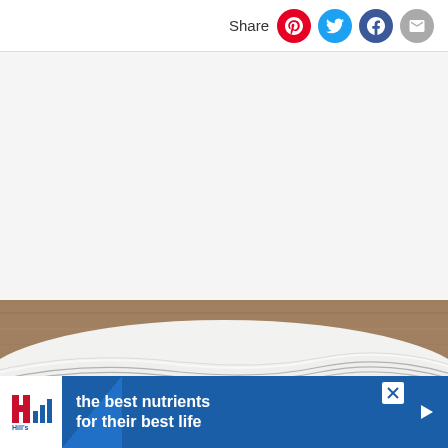Share
[Figure (photo): Folded white and grey striped linen fabric on a wooden surface]
[Figure (infographic): Hill's Pet Nutrition advertisement banner: 'the best nutrients for their best life']